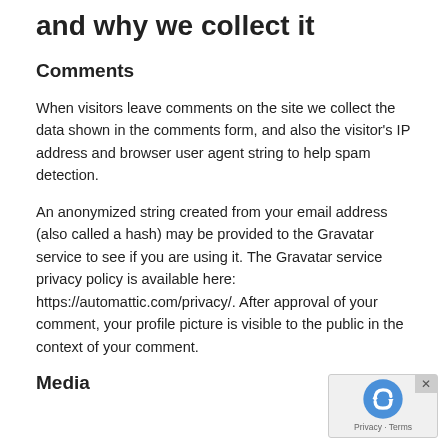and why we collect it
Comments
When visitors leave comments on the site we collect the data shown in the comments form, and also the visitor’s IP address and browser user agent string to help spam detection.
An anonymized string created from your email address (also called a hash) may be provided to the Gravatar service to see if you are using it. The Gravatar service privacy policy is available here: https://automattic.com/privacy/. After approval of your comment, your profile picture is visible to the public in the context of your comment.
Media